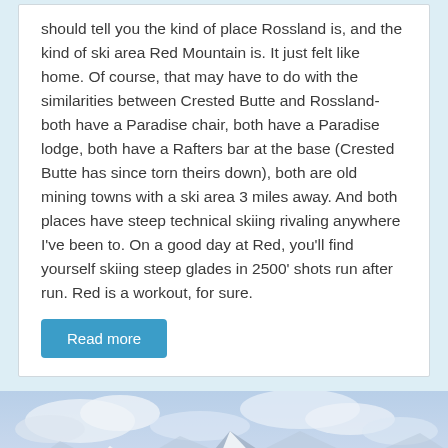should tell you the kind of place Rossland is, and the kind of ski area Red Mountain is. It just felt like home. Of course, that may have to do with the similarities between Crested Butte and Rossland- both have a Paradise chair, both have a Paradise lodge, both have a Rafters bar at the base (Crested Butte has since torn theirs down), both are old mining towns with a ski area 3 miles away. And both places have steep technical skiing rivaling anywhere I've been to. On a good day at Red, you'll find yourself skiing steep glades in 2500' shots run after run. Red is a workout, for sure.
Read more
[Figure (photo): Snow-covered mountain peaks with clouds and blue sky, winter alpine landscape photographed from a ski area viewpoint.]